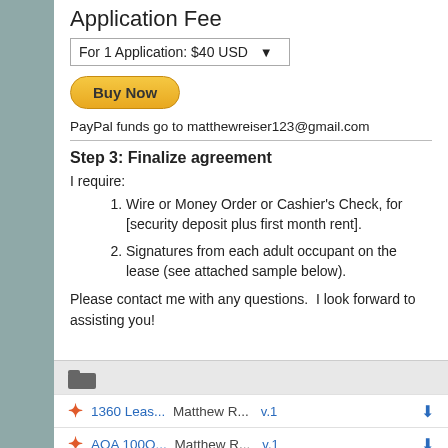Application Fee
For 1 Application: $40 USD
[Figure (other): Buy Now button (PayPal golden rounded button)]
PayPal funds go to matthewreiser123@gmail.com
Step 3: Finalize agreement
I require:
Wire or Money Order or Cashier's Check, for [security deposit plus first month rent].
Signatures from each adult occupant on the lease (see attached sample below).
Please contact me with any questions.  I look forward to assisting you!
[Figure (other): Folder icon (gray folder)]
1360 Leas... Matthew R... v.1 (PDF file row with download)
AOA 100Q... Matthew R... v.1 (PDF file row with download)